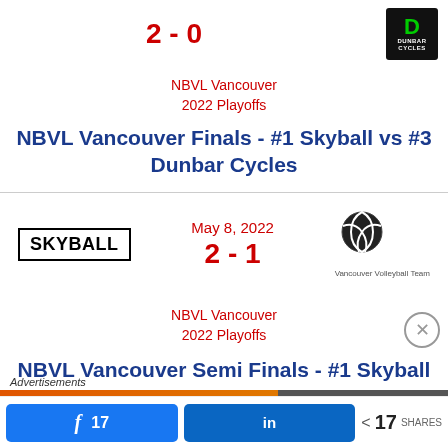2 - 0
NBVL Vancouver
2022 Playoffs
NBVL Vancouver Finals - #1 Skyball vs #3 Dunbar Cycles
[Figure (logo): Dunbar Cycles logo – green D on black background with DUNBAR CYCLES text]
[Figure (logo): SKYBALL logo – bold text in a black rectangle border]
May 8, 2022
2 - 1
NBVL Vancouver
2022 Playoffs
[Figure (logo): Vancouver Volleyball Team logo – volleyball icon with text]
NBVL Vancouver Semi Finals - #1 Skyball vs #4 Vancouver Volleyball Team
Advertisements
17  in  < 17 SHARES